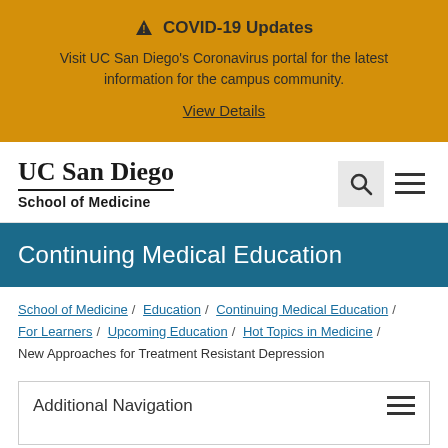⚠ COVID-19 Updates
Visit UC San Diego's Coronavirus portal for the latest information for the campus community.
View Details
[Figure (logo): UC San Diego School of Medicine logo with search and menu icons]
Continuing Medical Education
School of Medicine / Education / Continuing Medical Education / For Learners / Upcoming Education / Hot Topics in Medicine / New Approaches for Treatment Resistant Depression
Additional Navigation